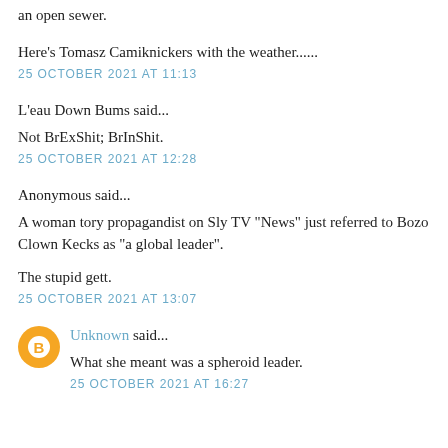an open sewer.
Here's Tomasz Camiknickers with the weather......
25 OCTOBER 2021 AT 11:13
L'eau Down Bums said...
Not BrExShit; BrInShit.
25 OCTOBER 2021 AT 12:28
Anonymous said...
A woman tory propagandist on Sly TV "News" just referred to Bozo Clown Kecks as "a global leader".
The stupid gett.
25 OCTOBER 2021 AT 13:07
Unknown said...
What she meant was a spheroid leader.
25 OCTOBER 2021 AT 16:27